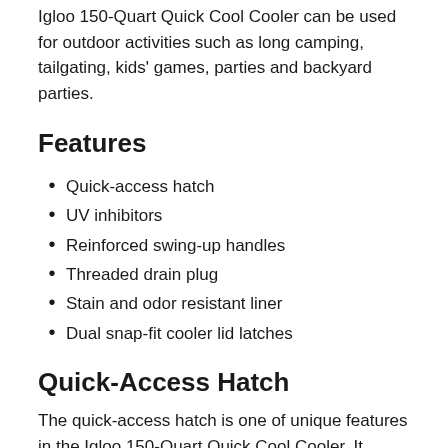Igloo 150-Quart Quick Cool Cooler can be used for outdoor activities such as long camping, tailgating, kids' games, parties and backyard parties.
Features
Quick-access hatch
UV inhibitors
Reinforced swing-up handles
Threaded drain plug
Stain and odor resistant liner
Dual snap-fit cooler lid latches
Quick-Access Hatch
The quick-access hatch is one of unique features in the Igloo 150-Quart Quick Cool Cooler. It allows